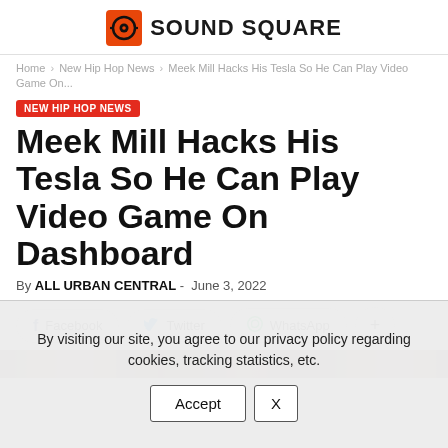SOUND SQUARE
Home › New Hip Hop News › Meek Mill Hacks His Tesla So He Can Play Video Game On...
NEW HIP HOP NEWS
Meek Mill Hacks His Tesla So He Can Play Video Game On Dashboard
By ALL URBAN CENTRAL - June 3, 2022
Facebook  Twitter  WhatsApp  +
By visiting our site, you agree to our privacy policy regarding cookies, tracking statistics, etc.